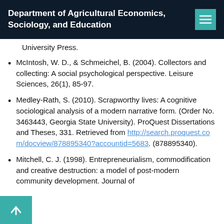Department of Agricultural Economics, Sociology, and Education
University Press.
McIntosh, W. D., & Schmeichel, B. (2004). Collectors and collecting: A social psychological perspective. Leisure Sciences, 26(1), 85-97.
Medley-Rath, S. (2010). Scrapworthy lives: A cognitive sociological analysis of a modern narrative form. (Order No. 3463443, Georgia State University). ProQuest Dissertations and Theses, 331. Retrieved from http://search.proquest.com/docview/878895340?accountid=5683. (878895340).
Mitchell, C. J. (1998). Entrepreneurialism, commodification and creative destruction: a model of post-modern community development. Journal of...